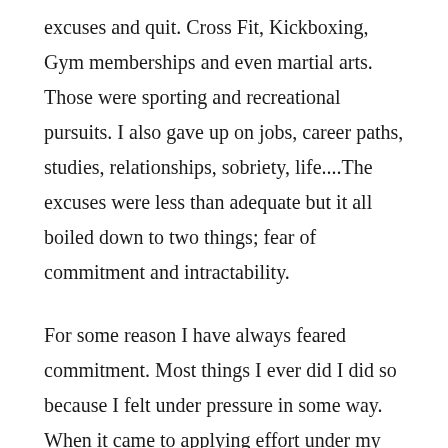excuses and quit. Cross Fit, Kickboxing, Gym memberships and even martial arts. Those were sporting and recreational pursuits. I also gave up on jobs, career paths, studies, relationships, sobriety, life....The excuses were less than adequate but it all boiled down to two things; fear of commitment and intractability.
For some reason I have always feared commitment. Most things I ever did I did so because I felt under pressure in some way. When it came to applying effort under my own steam voluntarily and without